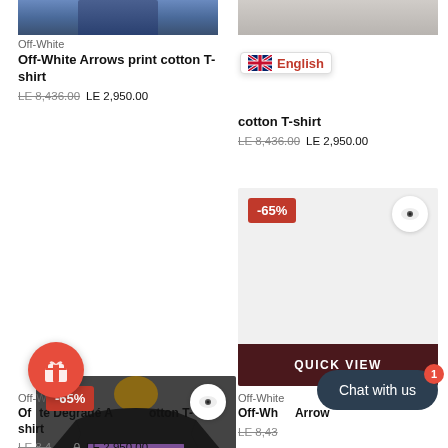[Figure (photo): Top cropped portion of a person wearing jeans – left product]
[Figure (photo): Top cropped portion of a person – right product]
Off-White
Off-White Arrows print cotton T-shirt
LE 8,436.00  LE 2,950.00
[Figure (screenshot): English language selector tooltip with UK flag]
cotton T-shirt
LE 8,436.00  LE 2,950.00
[Figure (photo): Off-White black t-shirt with Degradé Arrows print, back view, with -65% badge and QUICK VIEW button]
[Figure (photo): Second product image placeholder with -65% badge and QUICK VIEW button]
Off-White
Off-White Degradé Arrows cotton T-shirt
LE 8,436.00  LE 2,950.00
Off-White
Off-White Arrows cotton T-shirt
LE 8,436.00  LE 2,950.00